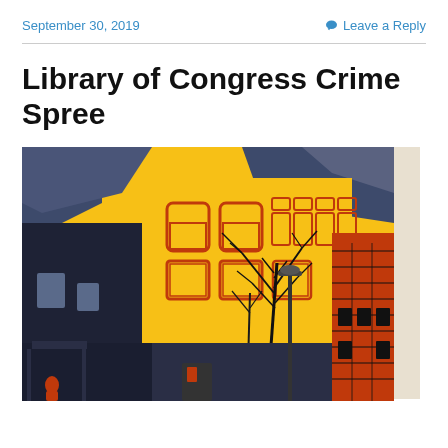September 30, 2019   Leave a Reply
Library of Congress Crime Spree
[Figure (photo): Book cover of 'Library of Congress Crime Spree' showing a stylized urban street scene with yellow and dark blue buildings, bare trees, and red brick structures, illustrated in a flat graphic style.]